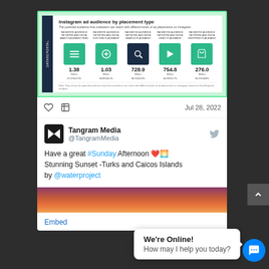[Figure (infographic): Instagram ad audience by placement type infographic showing 5 placement categories with icons and audience numbers: 1.38 Billion, 1.03 Billion, 728.9 Million, 754.8 Million, 276.0 Million]
Jul 28, 2022
Tangram Media @TangramMedia
Have a great #Sunday Afternoon ❤️🌅 Stunning Sunset -Turks and Caicos Islands by @waterproject
[Figure (photo): Stunning sunset photo over Turks and Caicos Islands with purple, red and orange sky]
Embed
We're Online! How may I help you today?